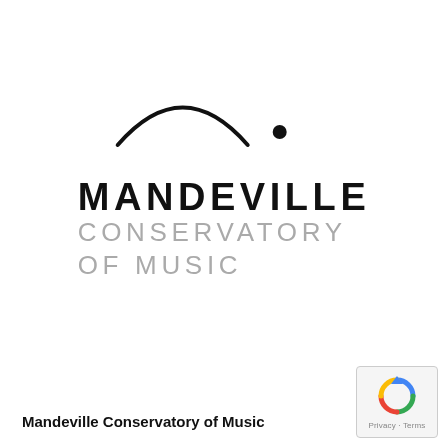[Figure (logo): Mandeville Conservatory of Music logo: an arc shape with a dot to the right, above the text MANDEVILLE in bold black and CONSERVATORY OF MUSIC in light grey]
Mandeville Conservatory of Music